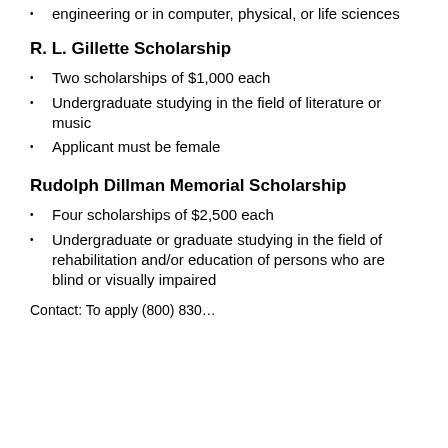engineering or in computer, physical, or life sciences
R. L. Gillette Scholarship
Two scholarships of $1,000 each
Undergraduate studying in the field of literature or music
Applicant must be female
Rudolph Dillman Memorial Scholarship
Four scholarships of $2,500 each
Undergraduate or graduate studying in the field of rehabilitation and/or education of persons who are blind or visually impaired
Contact: To apply (800) 830…